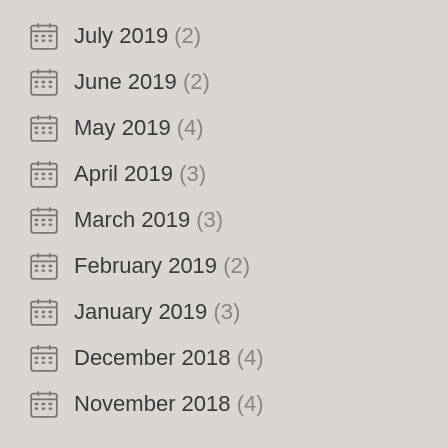July 2019 (2)
June 2019 (2)
May 2019 (4)
April 2019 (3)
March 2019 (3)
February 2019 (2)
January 2019 (3)
December 2018 (4)
November 2018 (4)